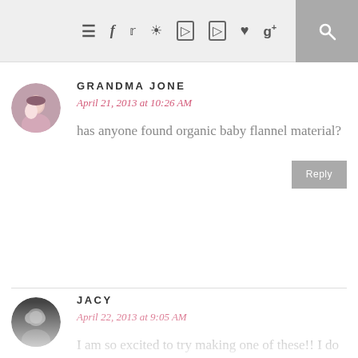≡ f t [instagram] [pinterest] [pinterest] ♥ g+ [search]
GRANDMA JONE
April 21, 2013 at 10:26 AM
has anyone found organic baby flannel material?
JACY
April 22, 2013 at 9:05 AM
I am so excited to try making one of these!! I do have a question though.. have you done a tutorial for binding the edges? I have read from a